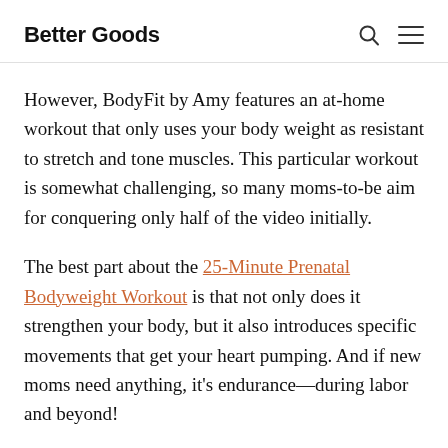Better Goods
However, BodyFit by Amy features an at-home workout that only uses your body weight as resistant to stretch and tone muscles. This particular workout is somewhat challenging, so many moms-to-be aim for conquering only half of the video initially.
The best part about the 25-Minute Prenatal Bodyweight Workout is that not only does it strengthen your body, but it also introduces specific movements that get your heart pumping. And if new moms need anything, it's endurance—during labor and beyond!